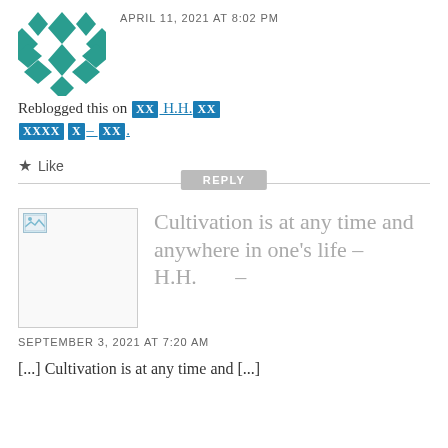[Figure (illustration): Teal geometric/floral avatar icon made of diamond and leaf shapes]
APRIL 11, 2021 AT 8:02 PM
Reblogged this on ██ H.H.██
█████- ██.
★ Like
REPLY
[Figure (photo): Small thumbnail image placeholder with broken image icon]
Cultivation is at any time and anywhere in one’s life – H.H.     –
SEPTEMBER 3, 2021 AT 7:20 AM
[...] Cultivation is at any time and [...]